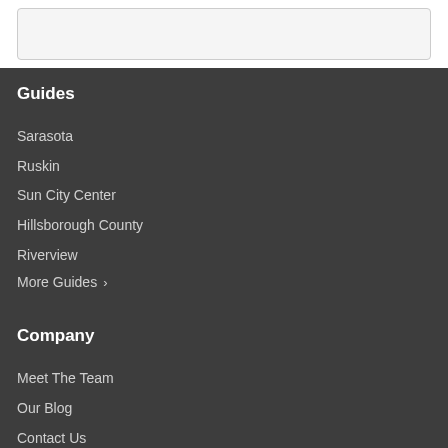Guides
Sarasota
Ruskin
Sun City Center
Hillsborough County
Riverview
More Guides >
Company
Meet The Team
Our Blog
Contact Us
Resources
Buy a Home